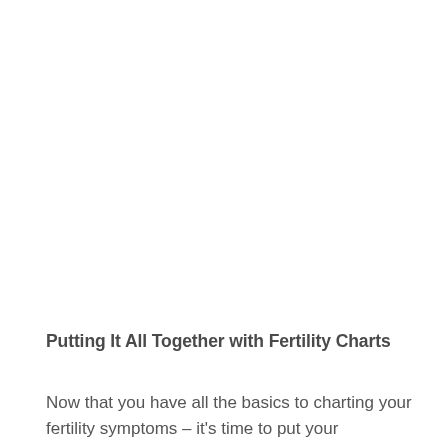Putting It All Together with Fertility Charts
Now that you have all the basics to charting your fertility symptoms – it's time to put your